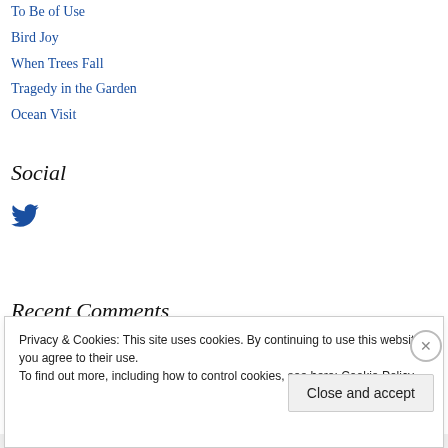To Be of Use
Bird Joy
When Trees Fall
Tragedy in the Garden
Ocean Visit
Social
[Figure (logo): Twitter bird icon in dark blue]
Recent Comments
Privacy & Cookies: This site uses cookies. By continuing to use this website, you agree to their use.
To find out more, including how to control cookies, see here: Cookie Policy
Close and accept